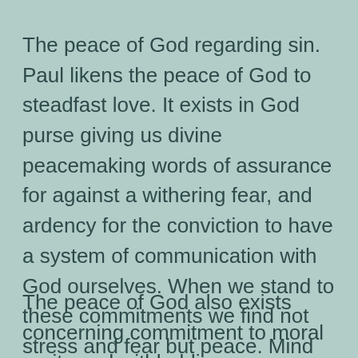The peace of God regarding sin. Paul likens the peace of God to steadfast love. It exists in God purse giving us divine peacemaking words of assurance for against a withering fear, and ardency for the conviction to have a system of communication with God ourselves. When we stand to these commitments we find not stress and fear but peace. Mind how peaceful God is to you.
The peace of God also exists concerning commitment to moral purity and withholding